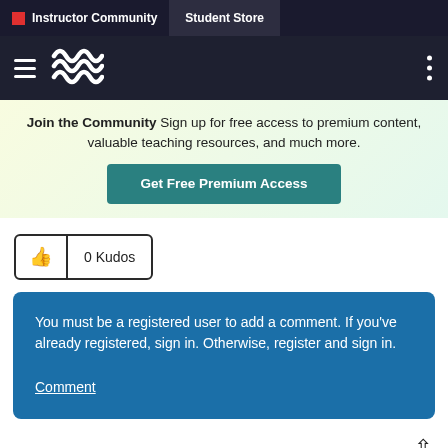Instructor Community | Student Store
[Figure (screenshot): Navigation bar with hamburger menu and wave logo on dark background]
Join the Community  Sign up for free access to premium content, valuable teaching resources, and much more.
Get Free Premium Access
0 Kudos
You must be a registered user to add a comment. If you've already registered, sign in. Otherwise, register and sign in.

Comment
About the Author